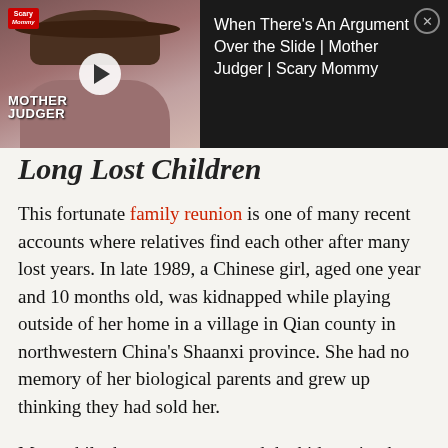[Figure (screenshot): Video overlay with thumbnail showing a woman in a brown hat and pink scarf. Logo reads 'Scary Mommy' in top left. Text overlay reads 'MOTHER JUDGER'. Play button visible. Video title: 'When There's An Argument Over the Slide | Mother Judger | Scary Mommy'. Close button (X) in top right.]
Long Lost Children
This fortunate family reunion is one of many recent accounts where relatives find each other after many lost years. In late 1989, a Chinese girl, aged one year and 10 months old, was kidnapped while playing outside of her home in a village in Qian county in northwestern China's Shaanxi province. She had no memory of her biological parents and grew up thinking they had sold her.
Meanwhile, her parents reported the kidnapping but nothing came of it because of the lack of eyewitnesses and the technological restraints at that time. They thought they'd never see their daughter again. Until